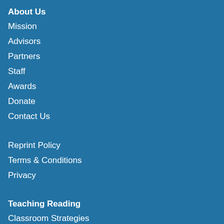About Us
Mission
Advisors
Partners
Staff
Awards
Donate
Contact Us
Reprint Policy
Terms & Conditions
Privacy
Teaching Reading
Classroom Strategies
Reading Basics